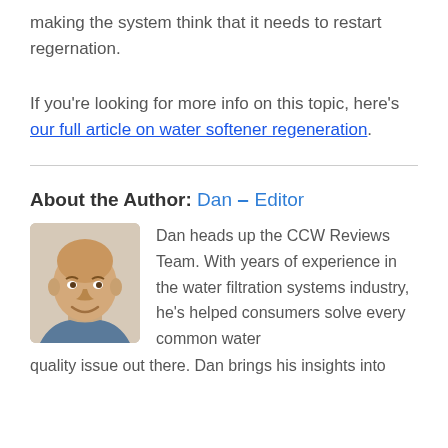making the system think that it needs to restart regernation.
If you're looking for more info on this topic, here's our full article on water softener regeneration.
About the Author: Dan – Editor
[Figure (photo): Headshot photo of Dan, a bald middle-aged man smiling]
Dan heads up the CCW Reviews Team. With years of experience in the water filtration systems industry, he's helped consumers solve every common water quality issue out there. Dan brings his insights into